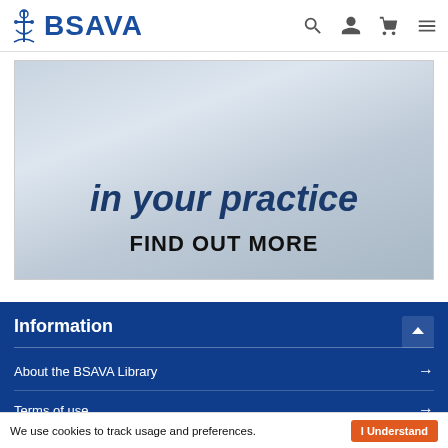BSAVA
[Figure (screenshot): BSAVA banner image with text 'in your practice' in dark blue italic and 'FIND OUT MORE' in bold black below, on a grey gradient background]
Information
About the BSAVA Library →
Terms of use →
We use cookies to track usage and preferences. I Understand